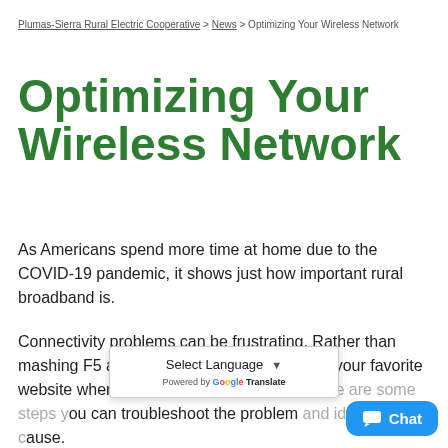Plumas-Sierra Rural Electric Cooperative > News > Optimizing Your Wireless Network
Optimizing Your Wireless Network
As Americans spend more time at home due to the COVID-19 pandemic, it shows just how important rural broadband is.
Connectivity problems can be frustrating. Rather than mashing F5 and desperately trying to reload your favorite website when you experience a problem, here are some steps you can troubleshoot the problem and identify the cause.